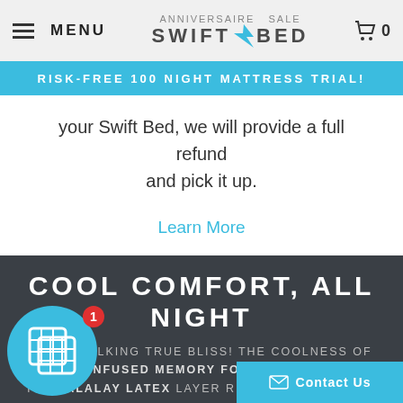MENU  SWIFT BED  0
RISK-FREE 100 NIGHT MATTRESS TRIAL!
your Swift Bed, we will provide a full refund and pick it up.
Learn More
COOL COMFORT, ALL NIGHT
WE'RE TALKING TRUE BLISS! THE COOLNESS OF THE GEL-INFUSED MEMORY FOAM COMBINED WITH THE TALALAY LATEX LAYER RENEWS YOUR BODY, MAKING IT FEEL LIGHT AND AIRY—LIKE SLEEPING ON A CLOUD. GONE ARE THE DAYS OF SWEATING ON A HOT MATTRES…